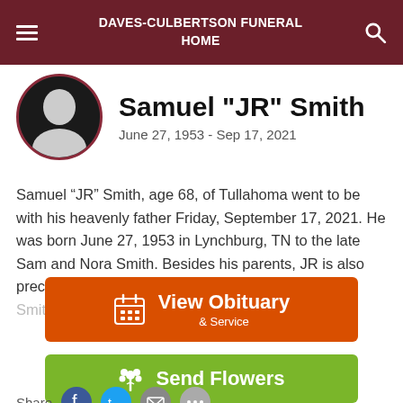DAVES-CULBERTSON FUNERAL HOME
Samuel "JR" Smith
June 27, 1953 - Sep 17, 2021
Samuel “JR” Smith, age 68, of Tullahoma went to be with his heavenly father Friday, September 17, 2021. He was born June 27, 1953 in Lynchburg, TN to the late Sam and Nora Smith. Besides his parents, JR is also preceded in death by his brothers, Oscar and Owen Smith and granddaughter,
View Obituary & Service
Send Flowers